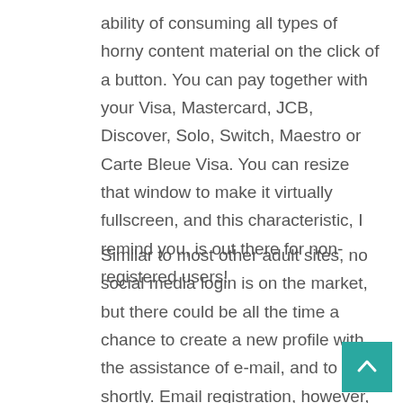ability of consuming all types of horny content material on the click of a button. You can pay together with your Visa, Mastercard, JCB, Discover, Solo, Switch, Maestro or Carte Bleue Visa. You can resize that window to make it virtually fullscreen, and this characteristic, I remind you, is out there for non-registered users!
Similar to most other adult sites, no social media login is on the market, but there could be all the time a chance to create a new profile with the assistance of e-mail, and to do it shortly. Email registration, however, is sort of safe and gives customers primary membership rights instantly after email verification. SexCamRadar.com is an